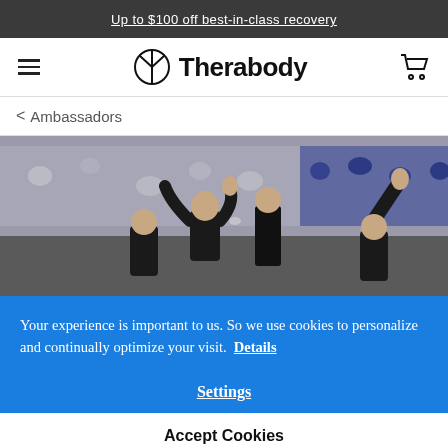Up to $100 off best-in-class recovery
Therabody
< Ambassadors
[Figure (photo): Rugby/football players jumping for the ball in a stadium crowd setting]
Your experience is important to us. So we use cookies to personalize and continually optimize your visit. Details
Settings
Accept Cookies